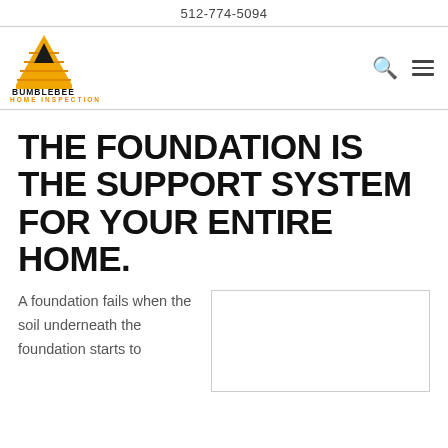512-774-5094
[Figure (logo): Bumblebee Home Inspection logo: orange beehive with dark roof shape, text BUMBLEBEE in bold black, HOME INSPECTION in orange below]
THE FOUNDATION IS THE SUPPORT SYSTEM FOR YOUR ENTIRE HOME.
A foundation fails when the soil underneath the foundation starts to